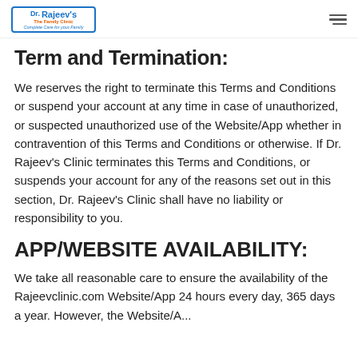Dr. Rajeev's The Family Clinic — Complete Care for your Family
Term and Termination:
We reserves the right to terminate this Terms and Conditions or suspend your account at any time in case of unauthorized, or suspected unauthorized use of the Website/App whether in contravention of this Terms and Conditions or otherwise. If Dr. Rajeev's Clinic terminates this Terms and Conditions, or suspends your account for any of the reasons set out in this section, Dr. Rajeev's Clinic shall have no liability or responsibility to you.
APP/WEBSITE AVAILABILITY:
We take all reasonable care to ensure the availability of the Rajeevclinic.com Website/App 24 hours every day, 365 days a year. However, the Website/A...